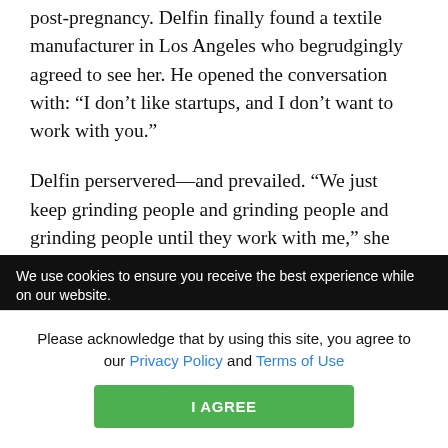post-pregnancy. Delfin finally found a textile manufacturer in Los Angeles who begrudgingly agreed to see her. He opened the conversation with: “I don’t like startups, and I don’t want to work with you.”
Delfin perservered—and prevailed. “We just keep grinding people and grinding people and grinding people until they work with me,” she says. Delfin’s passion for the work allowed her to succeed.
Today, Delfin is working to introduce her line to
We use cookies to ensure you receive the best experience while on our website.
Please acknowledge that by using this site, you agree to our Privacy Policy and Terms of Use
I AGREE